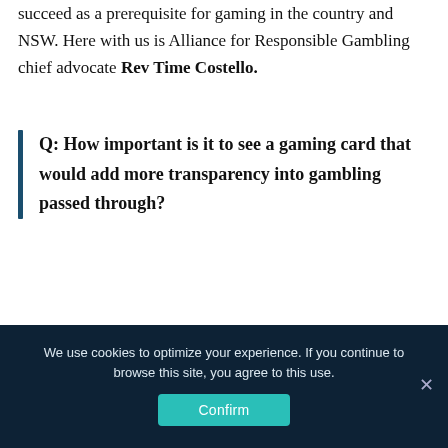succeed as a prerequisite for gaming in the country and NSW. Here with us is Alliance for Responsible Gambling chief advocate Rev Time Costello.
Q: How important is it to see a gaming card that would add more transparency into gambling passed through?
The proposed cashless gambling system in NSW is incredibly important, especially as NSW is the most
We use cookies to optimize your experience. If you continue to browse this site, you agree to this use.
Confirm